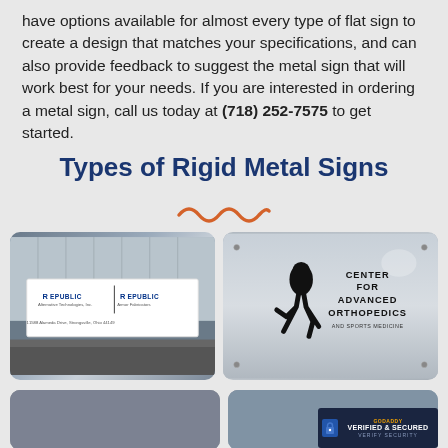have options available for almost every type of flat sign to create a design that matches your specifications, and can also provide feedback to suggest the metal sign that will work best for your needs. If you are interested in ordering a metal sign, call us today at (718) 252-7575 to get started.
Types of Rigid Metal Signs
[Figure (illustration): Orange wavy/squiggle decorative line divider]
[Figure (photo): Photo of Republic Alternative Technologies Inc. and Republic Armor Fabricators building exterior sign]
[Figure (photo): Photo of a metal sign reading 'Center for Advanced Orthopedics and Sports Medicine' with a runner silhouette]
[Figure (photo): Partial photo of a metal sign (bottom left, cut off)]
[Figure (photo): Partial photo of a metal sign (bottom right, cut off)]
[Figure (logo): GoDaddy Verified & Secured badge]